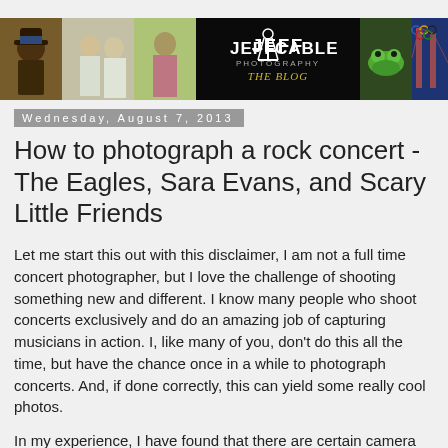[Figure (photo): Jeff Cable Photography blog banner with multiple photos and logo]
Wednesday, August 7, 2013
How to photograph a rock concert - The Eagles, Sara Evans, and Scary Little Friends
Let me start this out with this disclaimer, I am not a full time concert photographer, but I love the challenge of shooting something new and different. I know many people who shoot concerts exclusively and do an amazing job of capturing musicians in action. I, like many of you, don't do this all the time, but have the chance once in a while to photograph concerts. And, if done correctly, this can yield some really cool photos.
In my experience, I have found that there are certain camera settings and planning logistics that help to get the killer